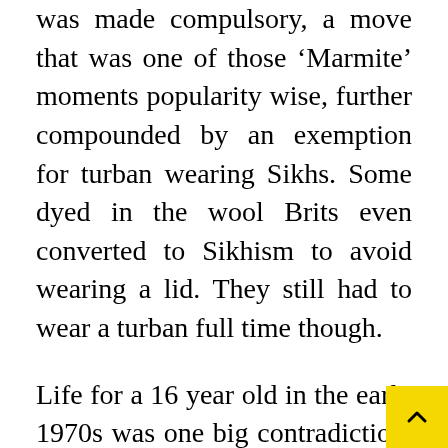was made compulsory, a move that was one of those 'Marmite' moments popularity wise, further compounded by an exemption for turban wearing Sikhs. Some dyed in the wool Brits even converted to Sikhism to avoid wearing a lid. They still had to wear a turban full time though.
Life for a 16 year old in the early 1970s was one big contradiction. You were old enough to legally smoke, get married, work for a living, pay tax, join the armed forces and even have sex (fat chance!) – although only with someone of the opposite sex.